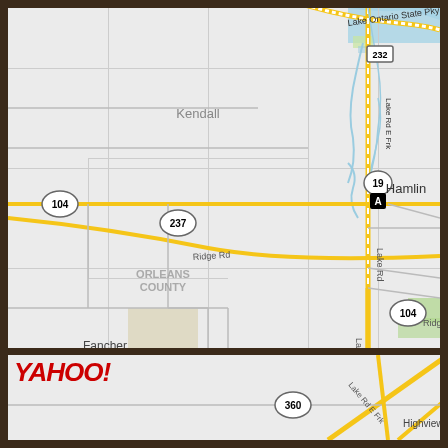[Figure (map): Yahoo Maps road map showing Orleans County area of New York state, including towns of Hamlin, Kendall, Fancher, Holley, and Brockport. Shows Route 19, Route 104, Route 237, Route 232, Route 360, Lake Ontario State Parkway, Ridge Rd, Lake Rd, and Lake Rd E Frk. A location marker 'A' is shown at Hamlin near Route 19. Scale bar shows 5.0 km and 5.0 mi.]
[Figure (logo): Yahoo! logo in red italic text at bottom left of page]
[Figure (map): Bottom portion of map showing Route 360, Lake Rd E Frk, Highview Dr area]